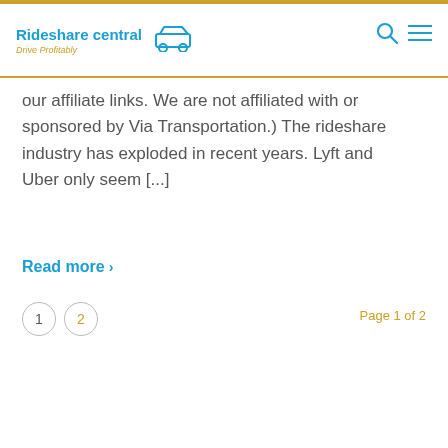Rideshare central Drive Profitably
our affiliate links. We are not affiliated with or sponsored by Via Transportation.) The rideshare industry has exploded in recent years. Lyft and Uber only seem [...]
Read more >
1  2  Page 1 of 2